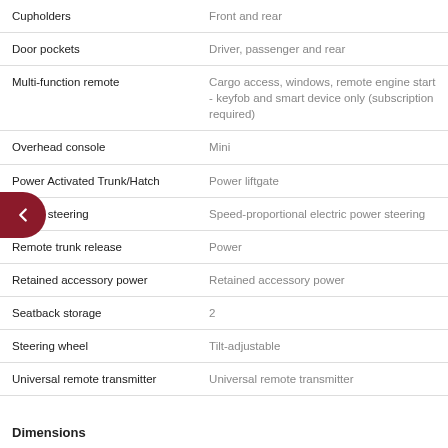| Feature | Detail |
| --- | --- |
| Cupholders | Front and rear |
| Door pockets | Driver, passenger and rear |
| Multi-function remote | Cargo access, windows, remote engine start - keyfob and smart device only (subscription required) |
| Overhead console | Mini |
| Power Activated Trunk/Hatch | Power liftgate |
| Power steering | Speed-proportional electric power steering |
| Remote trunk release | Power |
| Retained accessory power | Retained accessory power |
| Seatback storage | 2 |
| Steering wheel | Tilt-adjustable |
| Universal remote transmitter | Universal remote transmitter |
Dimensions